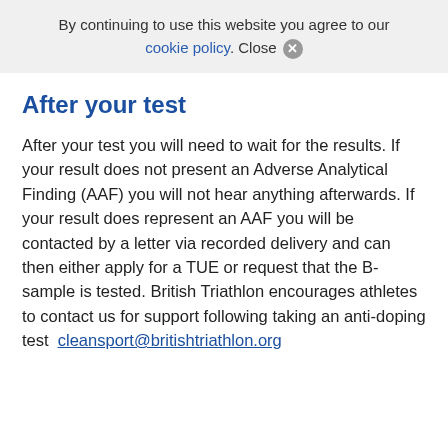By continuing to use this website you agree to our cookie policy. Close ✕
After your test
After your test you will need to wait for the results. If your result does not present an Adverse Analytical Finding (AAF) you will not hear anything afterwards. If your result does represent an AAF you will be contacted by a letter via recorded delivery and can then either apply for a TUE or request that the B-sample is tested. British Triathlon encourages athletes to contact us for support following taking an anti-doping test  cleansport@britishtriathlon.org